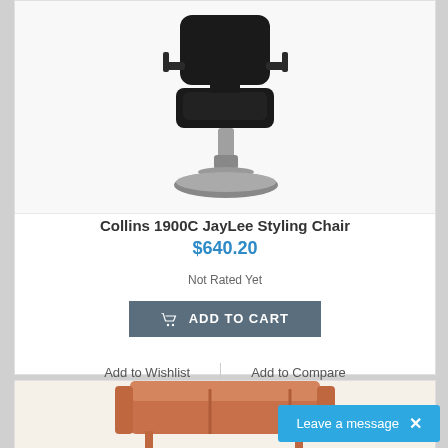[Figure (photo): Black salon styling chair with chrome hydraulic base and round foot platform]
Collins 1900C JayLee Styling Chair
$640.20
Not Rated Yet
ADD TO CART
Add to Wishlist  |  Add to Compare
[Figure (photo): Partial view of an orange/terracotta colored bench or sofa furniture item]
Leave a message  ×